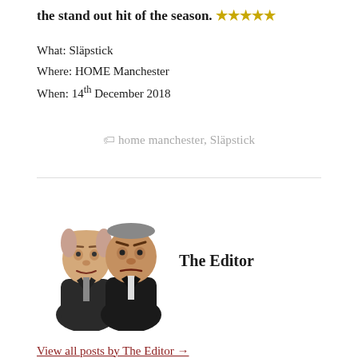the stand out hit of the season. ★★★★★
What: Släpstick
Where: HOME Manchester
When: 14th December 2018
🏷 home manchester, Släpstick
[Figure (photo): Two Muppet-style puppet characters side by side, wearing suits]
The Editor
View all posts by The Editor →